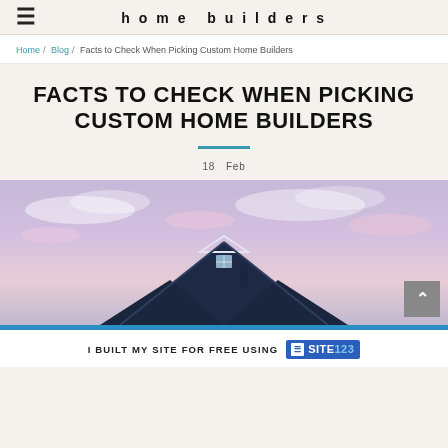home builders
Home / Blog / Facts to Check When Picking Custom Home Builders
FACTS TO CHECK WHEN PICKING CUSTOM HOME BUILDERS
18 Feb
[Figure (photo): Exterior view of a dark blue house roof/gable against a pastel purple and pink sky with clouds]
I BUILT MY SITE FOR FREE USING SITE123